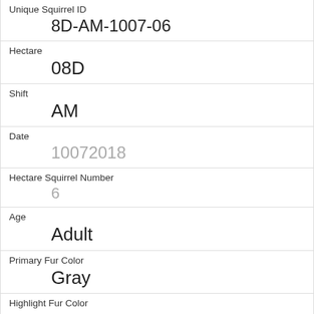| Unique Squirrel ID | 8D-AM-1007-06 |
| Hectare | 08D |
| Shift | AM |
| Date | 10072018 |
| Hectare Squirrel Number | 6 |
| Age | Adult |
| Primary Fur Color | Gray |
| Highlight Fur Color |  |
| Combination of Primary and Highlight Color | Gray+ |
| Color notes |  |